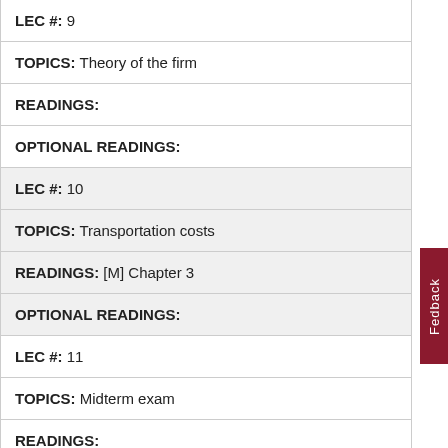| LEC #: 9 |
| TOPICS: Theory of the firm |
| READINGS: |
| OPTIONAL READINGS: |
| LEC #: 10 |
| TOPICS: Transportation costs |
| READINGS: [M] Chapter 3 |
| OPTIONAL READINGS: |
| LEC #: 11 |
| TOPICS: Midterm exam |
| READINGS: |